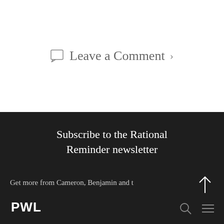Leave a Comment >
Subscribe to the Rational Reminder newsletter
Get more from Cameron, Benjamin and t
PWL